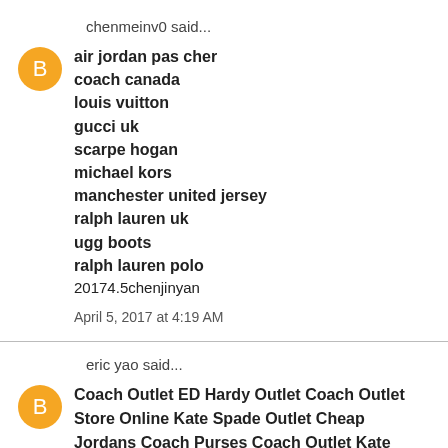chenmeinv0 said...
air jordan pas cher
coach canada
louis vuitton
gucci uk
scarpe hogan
michael kors
manchester united jersey
ralph lauren uk
ugg boots
ralph lauren polo
20174.5chenjinyan
April 5, 2017 at 4:19 AM
eric yao said...
Coach Outlet ED Hardy Outlet Coach Outlet Store Online Kate Spade Outlet Cheap Jordans Coach Purses Coach Outlet Kate Spade Outlet Toms Outlet Louis Vuitton